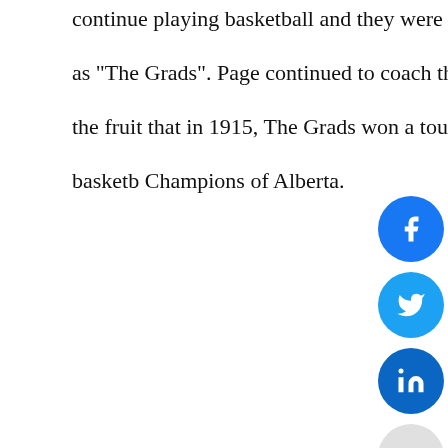continue playing basketball and they were known as the Commercial Graduates commonly as "The Grads". Page continued to coach the Grads for many years and his efforts brought the fruit that in 1915, The Grads won a tournament at the provincial level and became the basketball Champions of Alberta.
[Figure (other): Social media share buttons: Facebook (blue circle), Twitter (blue circle), LinkedIn (blue circle), and a plus/more button (light grey circle)]
Page challenged all teams of Alberta to defeat the Grads but no one could succeed in winning the champion trophy from Grads. They remained the Champion of Alberta for many years. But in 1919, The team of the University of Alberta succeeded in gaining a Trophy from Grads. But after few months Grads again